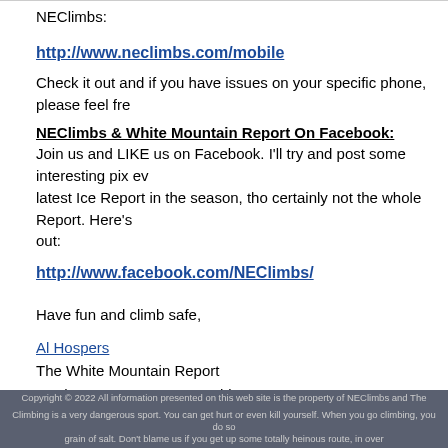NEClimbs:
http://www.neclimbs.com/mobile
Check it out and if you have issues on your specific phone, please feel fre
NEClimbs & White Mountain Report On Facebook:
Join us and LIKE us on Facebook. I'll try and post some interesting pix ev latest Ice Report in the season, tho certainly not the whole Report. Here's out:
http://www.facebook.com/NEClimbs/
Have fun and climb safe,
Al Hospers
The White Mountain Report
North Conway, New Hampshire
Profanity is about the best pro you'll get until the crack starts to narrow. Include doubles of profanity in the #6 to #8 range on your rack for this lead.
— Bruce Bindner
Copyright © 2022 All information presented on this web site is the property of NEClimbs and The
Climbing is a very dangerous sport. You can get hurt or even kill yourself. When you go climbing, you do so grain of salt. Don't blame us if you get up some totally heinous route, in over